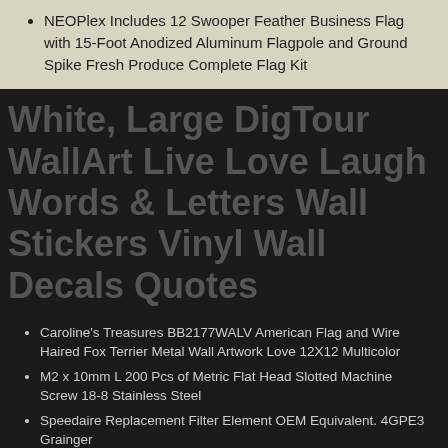NEOPlex Includes 12 Swooper Feather Business Flag with 15-Foot Anodized Aluminum Flagpole and Ground Spike Fresh Produce Complete Flag Kit
White, Large DigTour WallArt Live Love Laugh Words & Letters Wall Stickers Vinyl Wall Decals Quotes
Caroline's Treasures BB2177WALV American Flag and Wire Haired Fox Terrier Metal Wall Artwork Love 12X12 Multicolor
M2 x 10mm L 200 Pcs of Metric Flat Head Slotted Machine Screw 18-8 Stainless Steel
Speedaire Replacement Filter Element OEM Equivalent. 4GPE3 Grainger
B/Small Midwest Gloves & Gear 450TL-B-00 Thermolite Lined Suede Cowhide Leather Work Gloves 450TL Size
Digital Microscope Bracket Stable Anti-Wear Shockproof for Stand On The Worktable Steadily More Flexibly and Stable USB Durable Microscope Holder